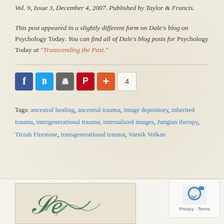Vol. 9, Issue 3, December 4, 2007. Published by Taylor & Francis.
This post appeared in a slightly different form on Dale's blog on Psychology Today. You can find all of Dale's blog posts for Psychology Today at "Transcending the Past."
[Figure (infographic): Social sharing buttons: Facebook (blue), Twitter (light blue), print/share (gray), Pinterest (red), plus button (red/orange), and a count box showing 4]
Tags: ancestral healing, ancestral trauma, image depository, inherited trauma, intergenerational trauma, internalized images, Jungian therapy, Tirzah Firestone, transgenerational trauma, Varnik Volkan
[Figure (illustration): Bottom section showing a partial image with decorative script/calligraphy and a reCAPTCHA Privacy Terms widget in the bottom right corner]